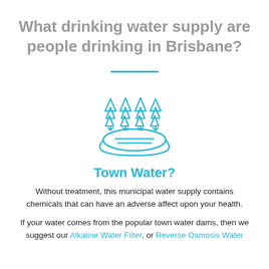What drinking water supply are people drinking in Brisbane?
[Figure (illustration): Icon of trees growing out of a water reservoir/dam, drawn in blue outline style]
Town Water?
Without treatment, this municipal water supply contains chemicals that can have an adverse affect upon your health.
If your water comes from the popular town water dams, then we suggest our Alkaline Water Filter, or Reverse Osmosis Water